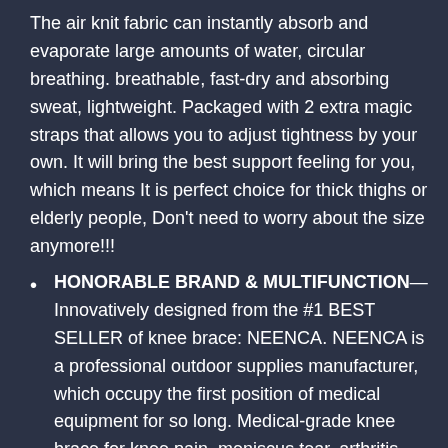The air knit fabric can instantly absorb and evaporate large amounts of water, circular breathing. breathable, fast-dry and absorbing sweat, lightweight. Packaged with 2 extra magic straps that allows you to adjust tightness by your own. It will bring the best support feeling for you, which means It is perfect choice for thick thighs or elderly people, Don't need to worry about the size anymore!!!
HONORABLE BRAND & MULTIFUNCTION—Innovatively designed from the #1 BEST SELLER of knee brace: NEENCA. NEENCA is a professional outdoor supplies manufacturer, which occupy the first position of medical equipment for so long. Medical-grade knee brace for knee pain, meniscus tear, arthritis, ACL, PCL, MCL, joint pain relief, Sprains,Strains,sports injury recovery. Widely used in weightlifting, basketball, running